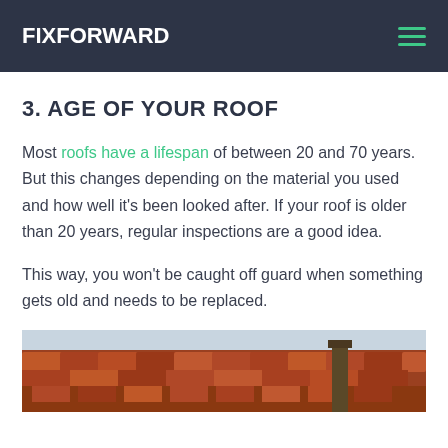FIXFORWARD
3. AGE OF YOUR ROOF
Most roofs have a lifespan of between 20 and 70 years. But this changes depending on the material you used and how well it's been looked after. If your roof is older than 20 years, regular inspections are a good idea.
This way, you won't be caught off guard when something gets old and needs to be replaced.
[Figure (photo): Aerial view of terracotta rooftops of a Mediterranean town with a tower visible in the background]